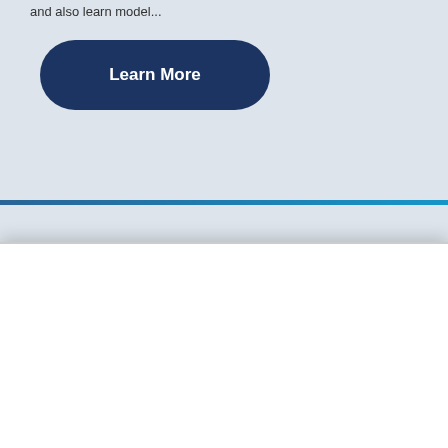and also learn model...
Learn More
October 10 - 14, 2022 | 12:00 pm
Privacy Notice
This website uses cookies to ensure you get the best experience. You can revoke your consent to the use of cookies by following the instructions on NAFSA's Privacy Policy page to adjust your browser settings. You can also set your communication preferences in your MyNAFSA account. Further information can be found in NAFSA's privacy policy. I agree to the use of cookies for the purposes of web analytics and digital advertising. If I continue to use this website, this is considered consent. Learn more about NAFSA's privacy policy
I Consent